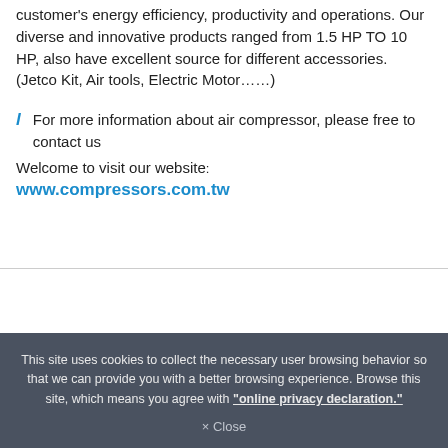customer's energy efficiency, productivity and operations. Our diverse and innovative products ranged from 1.5 HP TO 10 HP, also have excellent source for different accessories. (Jetco Kit, Air tools, Electric Motor……)
l   For more information about air compressor, please free to contact us
Welcome to visit our website: www.compressors.com.tw
This site uses cookies to collect the necessary user browsing behavior so that we can provide you with a better browsing experience. Browse this site, which means you agree with "online privacy declaration."
× Close